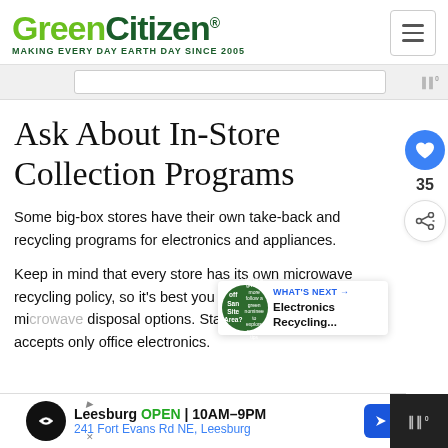GreenCitizen® MAKING EVERY DAY EARTH DAY SINCE 2005
Ask About In-Store Collection Programs
Some big-box stores have their own take-back and recycling programs for electronics and appliances.
Keep in mind that every store has its own microwave recycling policy, so it's best you call and ask about old mi... disposal options. Staples, for example, accepts only office electronics.